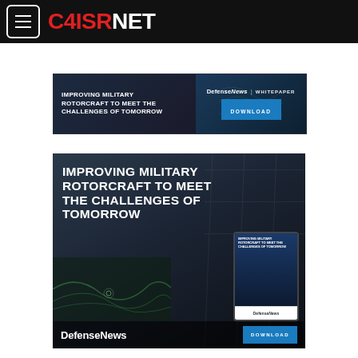C4ISRNET
[Figure (screenshot): DefenseNews whitepaper banner ad: 'Improving Military Rotorcraft to Meet the Challenges of Tomorrow' with Download button]
[Figure (screenshot): Large DefenseNews whitepaper advertisement: 'Improving Military Rotorcraft to Meet the Challenges of Tomorrow' with tablet mockup and DefenseNews logo at bottom]